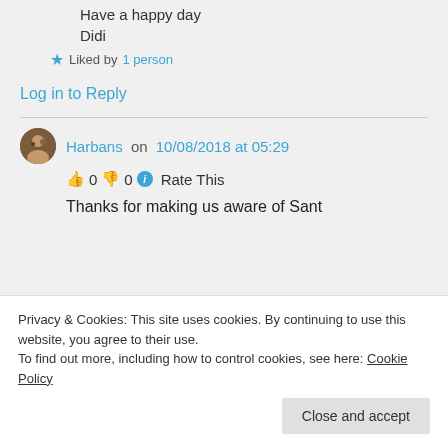Have a happy day
Didi
★ Liked by 1 person
Log in to Reply
Harbans on 10/08/2018 at 05:29
👍 0 👎 0 ℹ Rate This
Thanks for making us aware of Sant
Privacy & Cookies: This site uses cookies. By continuing to use this website, you agree to their use. To find out more, including how to control cookies, see here: Cookie Policy
Close and accept